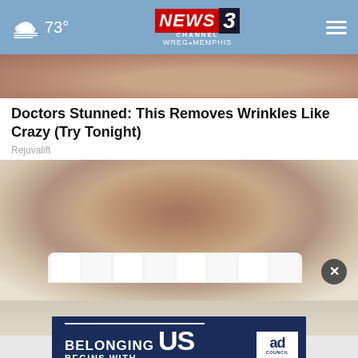73° | NEWS3 CHANNEL WREG MEMPHIS
[Figure (photo): Close-up photo of skin/wrinkled face area, top portion cropped]
Doctors Stunned: This Removes Wrinkles Like Crazy (Try Tonight)
Rejuvalift
[Figure (photo): Close-up photo of a man's mouth/mustache area showing white teeth and stubble]
[Figure (infographic): Ad banner: BELONGING BEGINS WITH US — Ad Council advertisement on dark blue background]